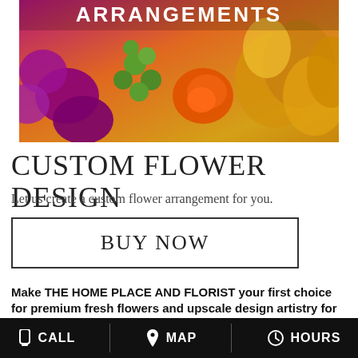[Figure (photo): Colorful flower arrangement with purple, orange, yellow flowers and green berries, with text 'ARRANGEMENTS' overlaid at top]
CUSTOM FLOWER DESIGN
Let us create a custom flower arrangement for you.
BUY NOW
Make THE HOME PLACE AND FLORIST your first choice for premium fresh flowers and upscale design artistry for your dream wedding and all your special occasions!
We take special care to ensure the bouquets and on-site floral décor reflect your individual style and budget...whether you prefer
CALL   MAP   HOURS